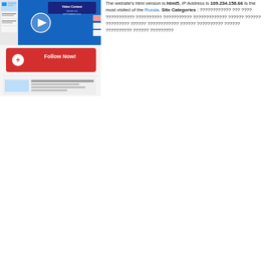[Figure (screenshot): Screenshot of a website showing a video contest promotion with a 'Follow Now!' button in red, and various UI elements including a play button on a blue banner.]
The website's html version is html5, IP Address is 109.234.158.66 Is the most visited of the Russia. Site Categories : ???????????? ??? ???? ??????????? ?????????? ??????????? ????????????? ?????? ?????? ????????? ?????? ???????????? ?????? ?????????? ?????? ?????????? ?????? ?????????